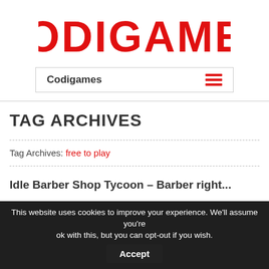[Figure (logo): Codigames logo in large bold red text]
Codigames
TAG ARCHIVES
Tag Archives: free to play
Idle Barber Shop Tycoon – Barber right...
This website uses cookies to improve your experience. We'll assume you're ok with this, but you can opt-out if you wish. Accept